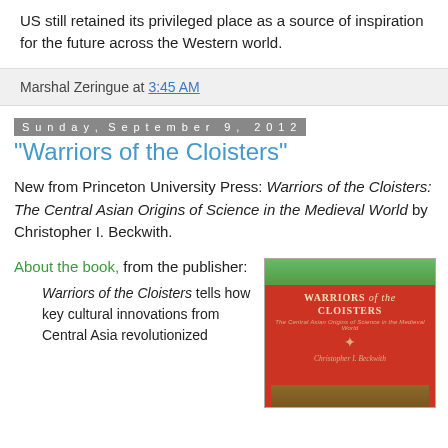US still retained its privileged place as a source of inspiration for the future across the Western world.
Marshal Zeringue at 3:45 AM
Sunday, September 9, 2012
"Warriors of the Cloisters"
New from Princeton University Press: Warriors of the Cloisters: The Central Asian Origins of Science in the Medieval World by Christopher I. Beckwith.
About the book, from the publisher:
Warriors of the Cloisters tells how key cultural innovations from Central Asia revolutionized
[Figure (illustration): Book cover of 'Warriors of the Cloisters' by Christopher I. Beckwith, published by Princeton University Press. Red cover with arched architectural imagery at top and title text.]